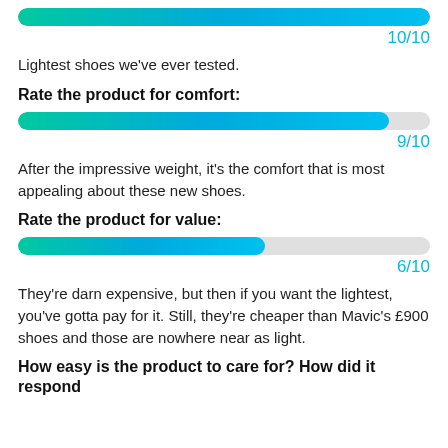[Figure (bar-chart): Weight rating bar]
10/10
Lightest shoes we've ever tested.
Rate the product for comfort:
[Figure (bar-chart): Comfort rating bar]
9/10
After the impressive weight, it's the comfort that is most appealing about these new shoes.
Rate the product for value:
[Figure (bar-chart): Value rating bar]
6/10
They're darn expensive, but then if you want the lightest, you've gotta pay for it. Still, they're cheaper than Mavic's £900 shoes and those are nowhere near as light.
How easy is the product to care for? How did it respond